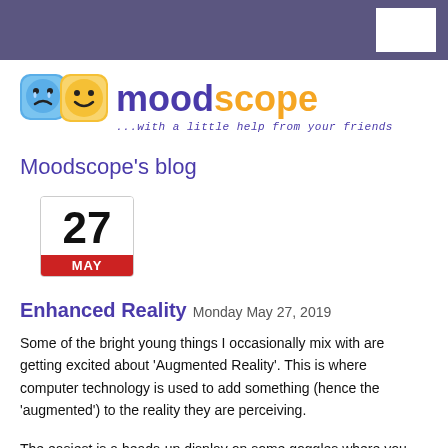[Figure (logo): Moodscope logo featuring two emoji-style faces (sad blue and happy yellow) with text 'moodscope' in purple and orange, and tagline '...with a little help from your friends']
Moodscope's blog
[Figure (other): Calendar widget showing day 27 and month MAY in red bar]
Enhanced Reality Monday May 27, 2019
Some of the bright young things I occasionally mix with are getting excited about 'Augmented Reality'. This is where computer technology is used to add something (hence the 'augmented') to the reality they are perceiving.
The easiest is a heads-up display on some goggles where you can